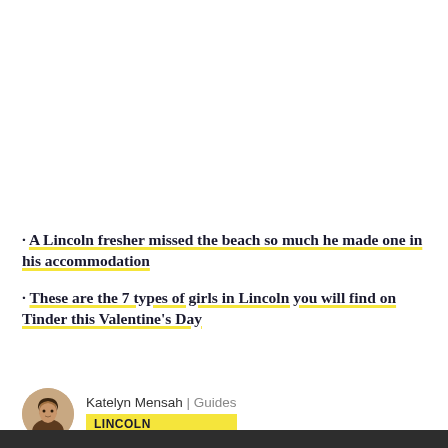· A Lincoln fresher missed the beach so much he made one in his accommodation
· These are the 7 types of girls in Lincoln you will find on Tinder this Valentine's Day
Katelyn Mensah | Guides LINCOLN